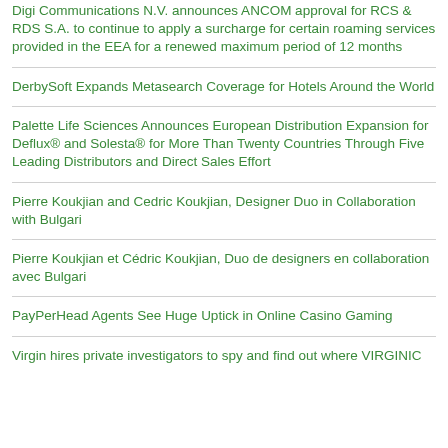Digi Communications N.V. announces ANCOM approval for RCS & RDS S.A. to continue to apply a surcharge for certain roaming services provided in the EEA for a renewed maximum period of 12 months
DerbySoft Expands Metasearch Coverage for Hotels Around the World
Palette Life Sciences Announces European Distribution Expansion for Deflux® and Solesta® for More Than Twenty Countries Through Five Leading Distributors and Direct Sales Effort
Pierre Koukjian and Cedric Koukjian, Designer Duo in Collaboration with Bulgari
Pierre Koukjian et Cédric Koukjian, Duo de designers en collaboration avec Bulgari
PayPerHead Agents See Huge Uptick in Online Casino Gaming
Virgin hires private investigators to spy and find out where VIRGINIC